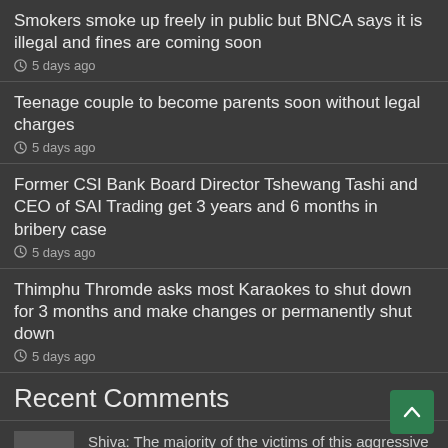Smokers smoke up freely in public but BNCA says it is illegal and fines are coming soon
5 days ago
Teenage couple to become parents soon without legal charges
5 days ago
Former CSI Bank Board Director Tshewang Tashi and CEO of SAI Trading get 3 years and 6 months in bribery case
5 days ago
Thimphu Thromde asks most Karaokes to shut down for 3 months and make changes or permanently shut down
5 days ago
Recent Comments
Shiva: The majority of the victims of this aggressive fines are not their voters!! So t...
Bernice: Is by law all the taxis have to have the yellow painted roof?